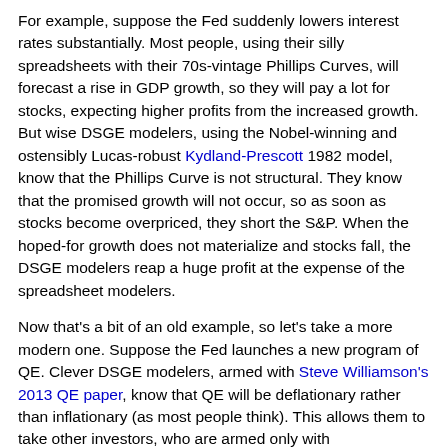For example, suppose the Fed suddenly lowers interest rates substantially. Most people, using their silly spreadsheets with their 70s-vintage Phillips Curves, will forecast a rise in GDP growth, so they will pay a lot for stocks, expecting higher profits from the increased growth. But wise DSGE modelers, using the Nobel-winning and ostensibly Lucas-robust Kydland-Prescott 1982 model, know that the Phillips Curve is not structural. They know that the promised growth will not occur, so as soon as stocks become overpriced, they short the S&P. When the hoped-for growth does not materialize and stocks fall, the DSGE modelers reap a huge profit at the expense of the spreadsheet modelers.
Now that's a bit of an old example, so let's take a more modern one. Suppose the Fed launches a new program of QE. Clever DSGE modelers, armed with Steve Williamson's 2013 QE paper, know that QE will be deflationary rather than inflationary (as most people think). This allows them to take other investors, who are armed only with spreadsheets, for a ride, shorting TIPS and buying Treasuries. Voila - instant riches. Williamson himself endorses this idea, writing: